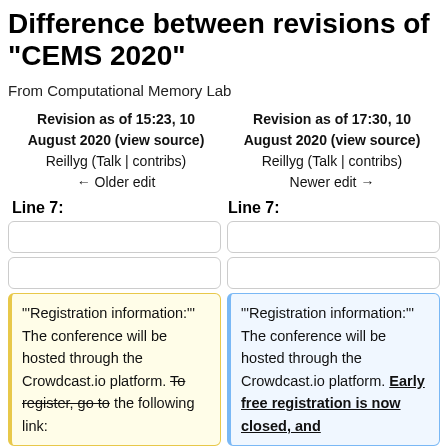Difference between revisions of "CEMS 2020"
From Computational Memory Lab
| Revision as of 15:23, 10 August 2020 (view source) | Revision as of 17:30, 10 August 2020 (view source) |
| --- | --- |
| Reillyg (Talk | contribs)
← Older edit | Reillyg (Talk | contribs)
Newer edit → |
Line 7:   Line 7:
"'Registration information:'" The conference will be hosted through the Crowdcast.io platform. To register, go to the following link:
"'Registration information:'" The conference will be hosted through the Crowdcast.io platform. Early free registration is now closed, and